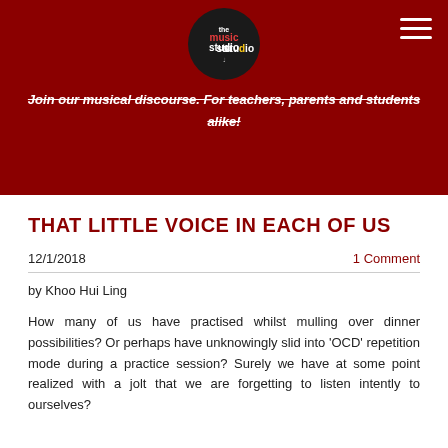[Figure (logo): The Music Studio circular logo with coloured text on dark background]
Join our musical discourse. For teachers, parents and students alike!
THAT LITTLE VOICE IN EACH OF US
12/1/2018    1 Comment
by Khoo Hui Ling
How many of us have practised whilst mulling over dinner possibilities? Or perhaps have unknowingly slid into 'OCD' repetition mode during a practice session? Surely we have at some point realized with a jolt that we are forgetting to listen intently to ourselves?